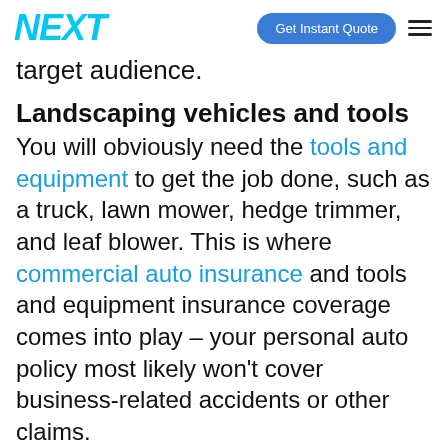NEXT | Get Instant Quote
target audience.
Landscaping vehicles and tools
You will obviously need the tools and equipment to get the job done, such as a truck, lawn mower, hedge trimmer, and leaf blower. This is where commercial auto insurance and tools and equipment insurance coverage comes into play – your personal auto policy most likely won't cover business-related accidents or other claims.
Technology costs
Most small businesses need a computer, phone systems, internet